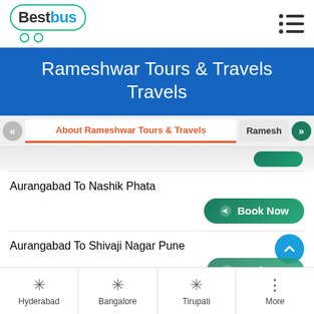BestBus
Rameshwar Tours & Travels Travels
About Rameshwar Tours & Travels | Ramesh
Aurangabad To Nashik Phata
Book Now
Aurangabad To Shivaji Nagar Pune
Book Now
Hyderabad | Bangalore | Tirupati | More